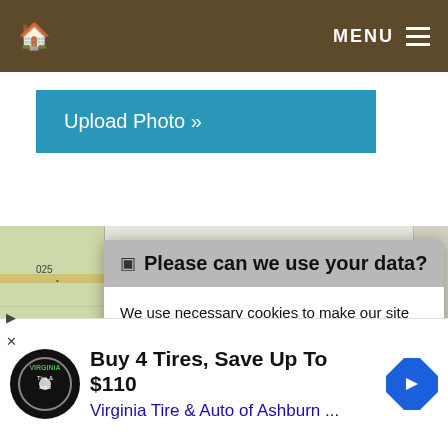🏠  MENU ≡
Upload Photo »
[Figure (map): Partial map view with street/road overlay, partially obscured by modal dialog]
🔔 Please can we use your data?
We use necessary cookies to make our site work. We'd also like to set optional analytics cookies to help us understand how the site is used, and marketing cookies to help ensure that you see relevant advertising. You can allow all cookies or manage them individually. More information
[Figure (screenshot): Advertisement: Buy 4 Tires, Save Up To $110 — Virginia Tire & Auto of Ashburn ... with logo and direction arrow icon]